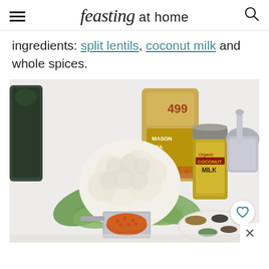feasting at home
ingredients: split lentils, coconut milk and whole spices.
[Figure (photo): Ingredients for a cauliflower dish: a whole head of cauliflower with green leaves, a bag of Masoor Dal (red split lentils) with price tag 499, a can of Organic Coconut Milk, a measuring cup filled with red lentils, a small plate with several whole spices (cumin, mustard seeds, etc.), a marble mortar and pestle, and a bag of dark leafy greens in the background, all arranged on a white surface.]